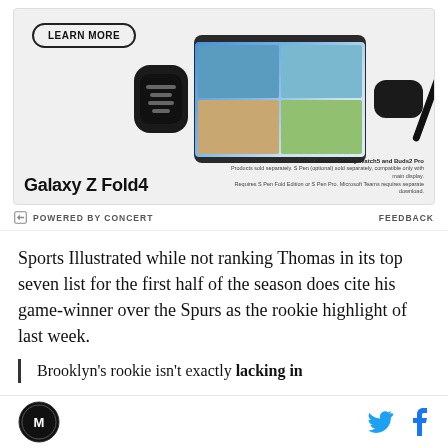[Figure (photo): Samsung Galaxy Z Fold4 advertisement showing the phone, Galaxy Watch5, Buds2 Pro, and S Pen with a 'Learn More' button]
POWERED BY CONCERT   FEEDBACK
Sports Illustrated while not ranking Thomas in its top seven list for the first half of the season does cite his game-winner over the Spurs as the rookie highlight of last week.
Brooklyn’s rookie isn’t exactly lacking in